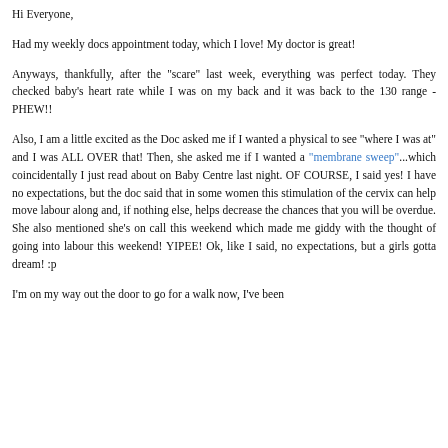Hi Everyone,
Had my weekly docs appointment today, which I love! My doctor is great!
Anyways, thankfully, after the "scare" last week, everything was perfect today. They checked baby's heart rate while I was on my back and it was back to the 130 range - PHEW!!
Also, I am a little excited as the Doc asked me if I wanted a physical to see "where I was at" and I was ALL OVER that! Then, she asked me if I wanted a "membrane sweep"...which coincidentally I just read about on Baby Centre last night. OF COURSE, I said yes! I have no expectations, but the doc said that in some women this stimulation of the cervix can help move labour along and, if nothing else, helps decrease the chances that you will be overdue. She also mentioned she's on call this weekend which made me giddy with the thought of going into labour this weekend! YIPEE! Ok, like I said, no expectations, but a girls gotta dream! :p
I'm on my way out the door to go for a walk now, I've been